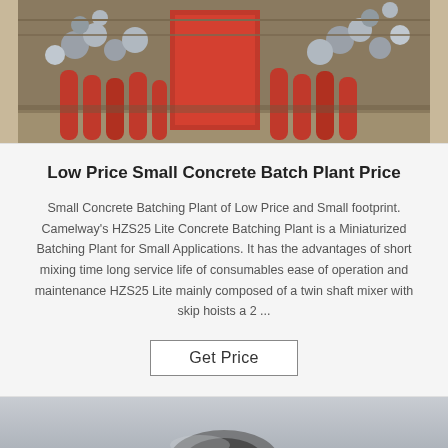[Figure (photo): Photo of red concrete batching plant equipment and metal pipe fittings packed inside a shipping container]
Low Price Small Concrete Batch Plant Price
Small Concrete Batching Plant of Low Price and Small footprint. Camelway's HZS25 Lite Concrete Batching Plant is a Miniaturized Batching Plant for Small Applications. It has the advantages of short mixing time long service life of consumables ease of operation and maintenance HZS25 Lite mainly composed of a twin shaft mixer with skip hoists a 2 ...
Get Price
[Figure (photo): Bottom portion of another product photo, gray/silver toned machinery partially visible]